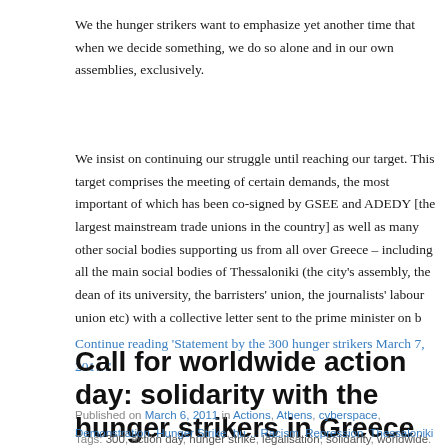We the hunger strikers want to emphasize yet another time that when we decide something, we do so alone and in our own assemblies, exclusively.
We insist on continuing our struggle until reaching our target. This target comprises the meeting of certain demands, the most important of which has been co-signed by GSEE and ADEDY [the largest mainstream trade unions in the country] as well as many other social bodies supporting us from all over Greece – including all the main social bodies of Thessaloniki (the city's assembly, the dean of its university, the barristers' union, the journalists' labour union etc) with a collective letter sent to the prime minister on b…
Continue reading 'Statement by the 300 hunger strikers March 7, 201…'
Call for worldwide action day: solidarity with the hunger strikers in Greece
Published on March 6, 2011 in Actions, Athens, cyberspace, Demonstration, Hunger Strike, hu… Racism, Repression, Thessaloniki and Worldwide. Closed
Tags: 300, action day, hunger strike, legalisation, solidarity, worldwide.